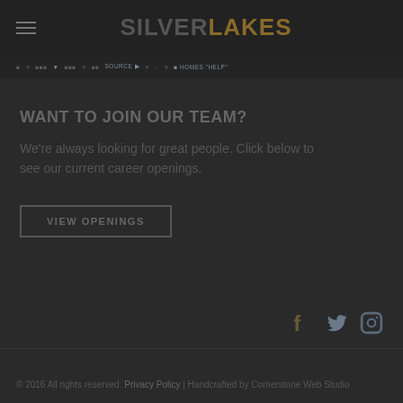SILVERLAKES
Navigation menu items
WANT TO JOIN OUR TEAM?
We're always looking for great people. Click below to see our current career openings.
VIEW OPENINGS
[Figure (other): Social media icons: Facebook, Twitter, Instagram]
© 2016 All rights reserved. Privacy Policy | Handcrafted by Cornerstone Web Studio